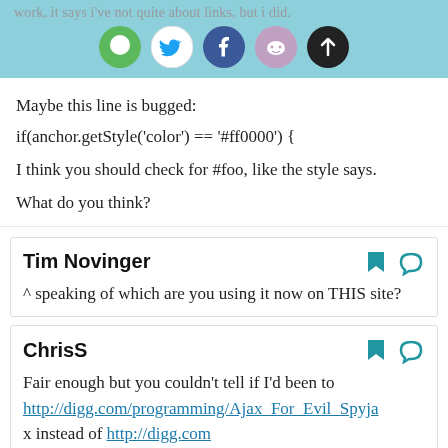work, it says i've not quite about links, but i did.
Maybe this line is bugged:
if(anchor.getStyle('color') == '#ff0000') {
I think you should check for #foo, like the style says.
What do you think?
Tim Novinger
^ speaking of which are you using it now on THIS site?
ChrisS
Fair enough but you couldn't tell if I'd been to http://digg.com/programming/Ajax_For_Evil_Spyja x instead of http://digg.com